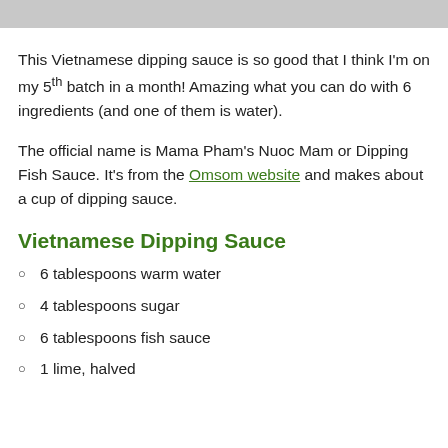[Figure (photo): Partial photo of Vietnamese dipping sauce dish at top of page]
This Vietnamese dipping sauce is so good that I think I'm on my 5th batch in a month! Amazing what you can do with 6 ingredients (and one of them is water).
The official name is Mama Pham's Nuoc Mam or Dipping Fish Sauce. It's from the Omsom website and makes about a cup of dipping sauce.
Vietnamese Dipping Sauce
6 tablespoons warm water
4 tablespoons sugar
6 tablespoons fish sauce
1 lime, halved